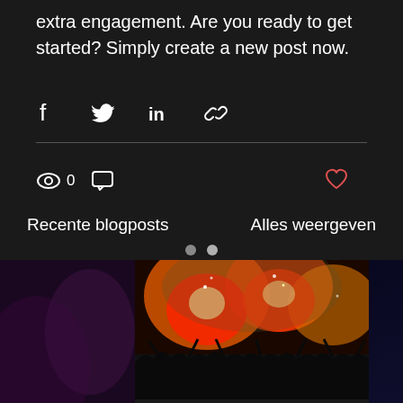extra engagement. Are you ready to get started? Simply create a new post now.
[Figure (infographic): Social share icons: Facebook, Twitter, LinkedIn, link/chain]
[Figure (infographic): Post meta bar: eye/views icon with count 0, comment icon, heart/like icon]
Recente blogposts    Alles weergeven
[Figure (photo): Concert crowd with fire/flares, red and orange tones, silhouettes of people]
2018 Europe Tour dates